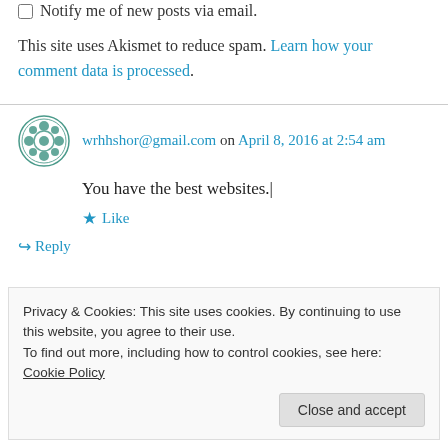Notify me of new posts via email.
This site uses Akismet to reduce spam. Learn how your comment data is processed.
wrhhshor@gmail.com on April 8, 2016 at 2:54 am
You have the best websites.|
★ Like
↳ Reply
Privacy & Cookies: This site uses cookies. By continuing to use this website, you agree to their use.
To find out more, including how to control cookies, see here: Cookie Policy
Close and accept